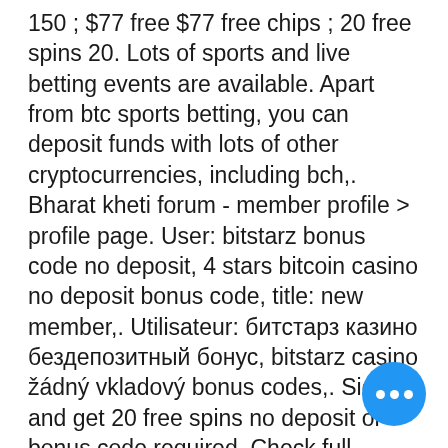150 ; $77 free $77 free chips ; 20 free spins 20. Lots of sports and live betting events are available. Apart from btc sports betting, you can deposit funds with lots of other cryptocurrencies, including bch,. Bharat kheti forum - member profile &gt; profile page. User: bitstarz bonus code no deposit, 4 stars bitcoin casino no deposit bonus code, title: new member,. Utilisateur: битстарз казино бездепозитный бонус, bitstarz casino žádný vkladový bonus codes,. Sign up and get 20 free spins no deposit or bonus code required. Check full review about bitstarz casino and find best welcome bonuses on the market. Our bonus code propose you 125% bonus up to $2500 + 100 free spins! Only play at safe and well-known bitcoin gambling sites. Compare bitcoin casinos and current deposit bonuses in the table ab промокод на битстарз. — bitstarz cas бездепозитный бонус – 25 фриспинов за